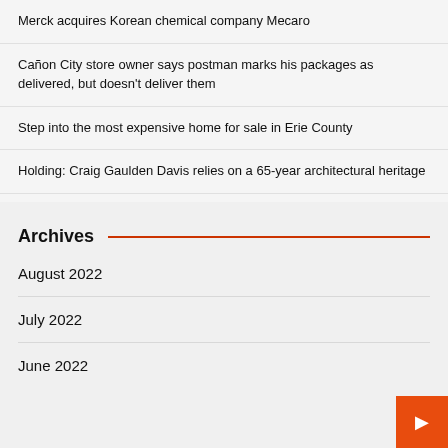Merck acquires Korean chemical company Mecaro
Cañon City store owner says postman marks his packages as delivered, but doesn't deliver them
Step into the most expensive home for sale in Erie County
Holding: Craig Gaulden Davis relies on a 65-year architectural heritage
Archives
August 2022
July 2022
June 2022